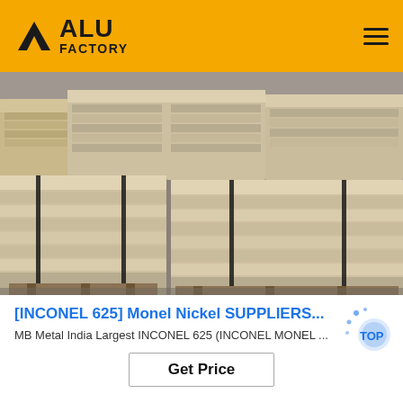ALU FACTORY
[Figure (photo): Stacked metal sheets (INCONEL 625 alloy plates) bundled with black straps on wooden pallets in a warehouse]
[INCONEL 625] Monel Nickel SUPPLIERS...
MB Metal India Largest INCONEL 625 (INCONEL MONEL ...
Get Price